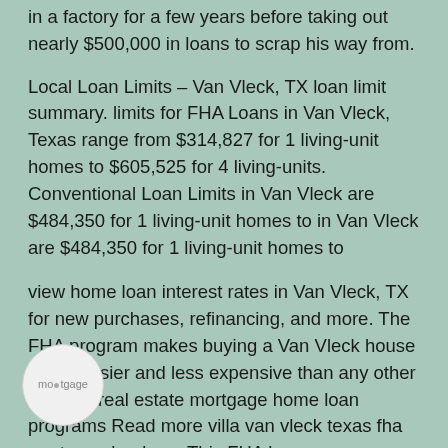in a factory for a few years before taking out nearly $500,000 in loans to scrap his way from.
Local Loan Limits – Van Vleck, TX loan limit summary. limits for FHA Loans in Van Vleck, Texas range from $314,827 for 1 living-unit homes to $605,525 for 4 living-units. Conventional Loan Limits in Van Vleck are $484,350 for 1 living-unit homes to in Van Vleck are $484,350 for 1 living-unit homes to
view home loan interest rates in Van Vleck, TX for new purchases, refinancing, and more. The FHA program makes buying a Van Vleck house home easier and less expensive than any other types of real estate mortgage home loan programs Read more villa van vleck texas fha mortgage lenders– This FHA loan program was created to help increase home.